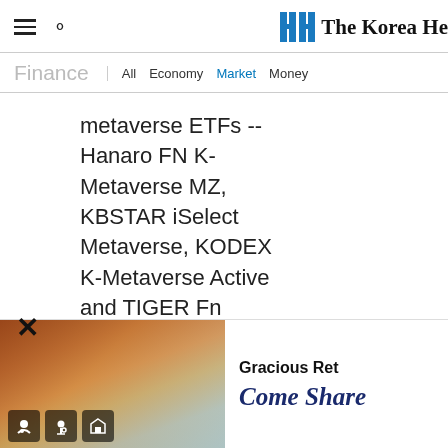The Korea Herald — Finance | All Economy Market Money
Finance   All  Economy  Market  Money
metaverse ETFs -- Hanaro FN K-Metaverse MZ, KBSTAR iSelect Metaverse, KODEX K-Metaverse Active and TIGER Fn Metaverse --
[Figure (photo): Advertisement banner showing a woman painting at an easel in a bright room, with accessibility icons and text 'Gracious Ret... Come Share']